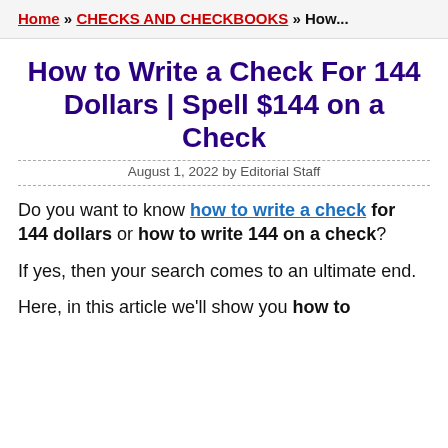Home » CHECKS AND CHECKBOOKS » How...
How to Write a Check For 144 Dollars | Spell $144 on a Check
August 1, 2022 by Editorial Staff
Do you want to know how to write a check for 144 dollars or how to write 144 on a check?
If yes, then your search comes to an ultimate end.
Here, in this article we'll show you how to